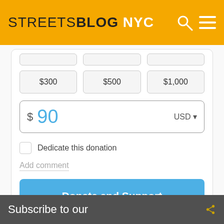STREETSBLOG NYC
[Figure (screenshot): Donation form with amount buttons ($300, $500, $1,000), a custom amount input showing $90 USD, a 'Dedicate this donation' checkbox, an 'Add comment' field, and a 'Donate and Support' button]
Subscribe to our